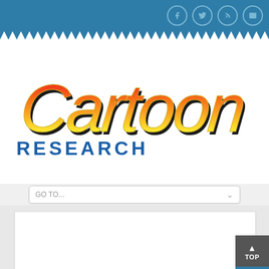Cartoon Research website header with social icons (Facebook, Twitter, RSS, Email)
[Figure (logo): Cartoon Research logo: stylized 'Cartoon' text in red-orange-yellow gradient script font with dark outline, and 'RESEARCH' in bold blue block letters below]
GO TO...
“The Man Called Flintstone” on Records
Scrappy Love: “The Bad Genius” (1932)
BAXTER'S BREAKDOWNS
MARCH 18, 2015   POSTED BY